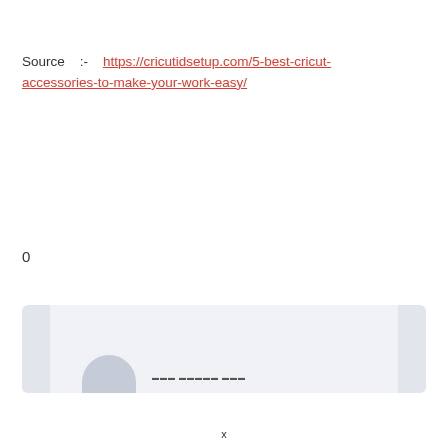Source   :-   https://cricutidsetup.com/5-best-cricut-accessories-to-make-your-work-easy/
0
[Figure (screenshot): A preview card with a light gray background, left and right sidebar bars, a profile avatar arc shape on the lower left, and some blurred text placeholder in the center.]
x